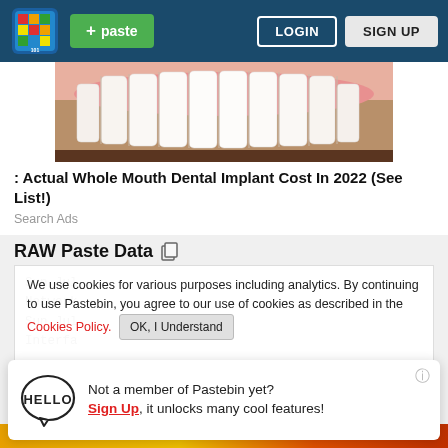Pastebin navigation bar with logo, + paste button, LOGIN and SIGN UP buttons
[Figure (photo): Close-up photo of teeth/dental work showing white teeth with pink gums]
: Actual Whole Mouth Dental Implant Cost In 2022 (See List!)
Search Ads
RAW Paste Data
Sun Jul  Network  Sun Jul  Interfa
We use cookies for various purposes including analytics. By continuing to use Pastebin, you agree to our use of cookies as described in the Cookies Policy.   OK, I Understand
Not a member of Pastebin yet? Sign Up, it unlocks many cool features!